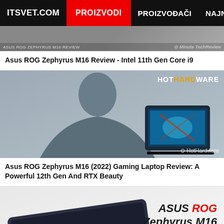ITSVET.COM | PROIZVODI | PROIZVOĐAČI | NAJNOVIJE
[Figure (screenshot): Partial thumbnail of a laptop review video]
Asus ROG Zephyrus M16 Review - Intel 11th Gen Core i9
[Figure (screenshot): HotHardware video thumbnail showing a man presenting the Asus ROG Zephyrus M16 laptop with HotHardware logo overlay]
Asus ROG Zephyrus M16 (2022) Gaming Laptop Review: A Powerful 12th Gen And RTX Beauty
[Figure (screenshot): Product photo of Asus ROG Zephyrus M16 laptop with ASUS ROG Zephyrus M16 text overlay and Techzim watermark]
Asus ROG Zephyrus M16 review. It so powerful it's funny
[Figure (screenshot): Partial thumbnail at bottom of page]